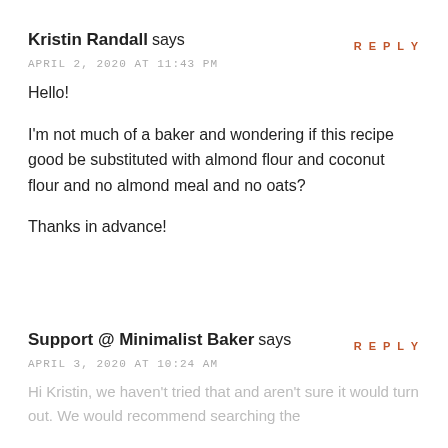REPLY
Kristin Randall says
APRIL 2, 2020 AT 11:43 PM
Hello!

I'm not much of a baker and wondering if this recipe good be substituted with almond flour and coconut flour and no almond meal and no oats?

Thanks in advance!
REPLY
Support @ Minimalist Baker says
APRIL 3, 2020 AT 10:24 AM
Hi Kristin, we haven't tried that and aren't sure it would turn out. We would recommend searching the